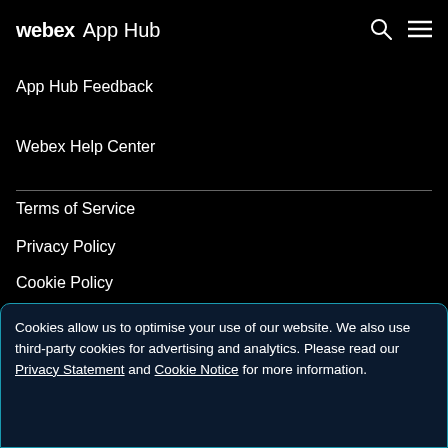webex App Hub
App Hub Feedback
Webex Help Center
Terms of Service
Privacy Policy
Cookie Policy
Trademarks
[Figure (illustration): Social media icons (Twitter and LinkedIn) partially visible at bottom of dark section]
Cookies allow us to optimise your use of our website. We also use third-party cookies for advertising and analytics. Please read our Privacy Statement and Cookie Notice for more information.